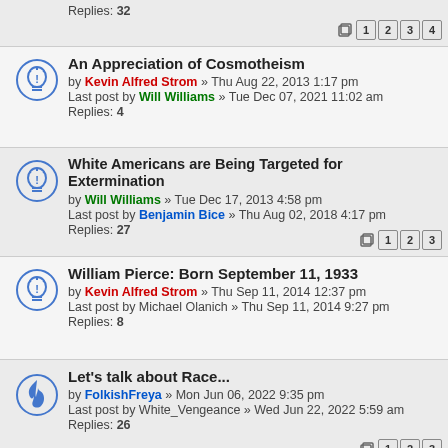Replies: 32 [pages 1 2 3 4]
An Appreciation of Cosmotheism
by Kevin Alfred Strom » Thu Aug 22, 2013 1:17 pm
Last post by Will Williams » Tue Dec 07, 2021 11:02 am
Replies: 4
White Americans are Being Targeted for Extermination
by Will Williams » Tue Dec 17, 2013 4:58 pm
Last post by Benjamin Bice » Thu Aug 02, 2018 4:17 pm
Replies: 27 [pages 1 2 3]
William Pierce: Born September 11, 1933
by Kevin Alfred Strom » Thu Sep 11, 2014 12:37 pm
Last post by Michael Olanich » Thu Sep 11, 2014 9:27 pm
Replies: 8
Let's talk about Race...
by FolkishFreya » Mon Jun 06, 2022 9:35 pm
Last post by White_Vengeance » Wed Jun 22, 2022 5:59 am
Replies: 26 [pages 1 2 3]
The Problem of White Suicide
by californiasurviving » Fri May 20, 2022 2:50 pm
Last post by Jim Mathias » Tue May 24, 2022 3:20 pm
Replies: 5